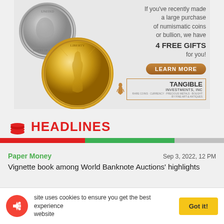[Figure (illustration): Advertisement for Tangible Investments, Inc. showing a silver Morgan dollar coin and a gold American Eagle coin, with text 'If you've recently made a large purchase of numismatic coins or bullion, we have 4 FREE GIFTS for you!' and a brown 'LEARN MORE' button, plus the Tangible Investments, Inc. logo.]
HEADLINES
Paper Money
Sep 3, 2022, 12 PM
Vignette book among World Banknote Auctions' highlights
This site uses cookies to ensure you get the best experience on our website